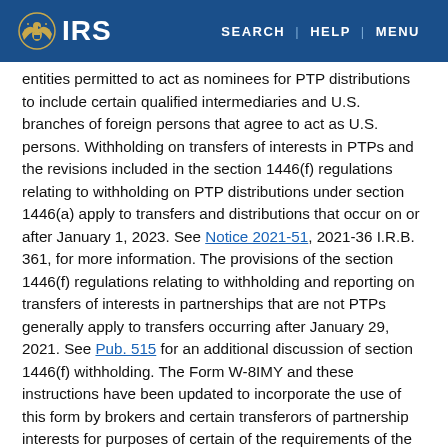IRS | SEARCH | HELP | MENU
entities permitted to act as nominees for PTP distributions to include certain qualified intermediaries and U.S. branches of foreign persons that agree to act as U.S. persons. Withholding on transfers of interests in PTPs and the revisions included in the section 1446(f) regulations relating to withholding on PTP distributions under section 1446(a) apply to transfers and distributions that occur on or after January 1, 2023. See Notice 2021-51, 2021-36 I.R.B. 361, for more information. The provisions of the section 1446(f) regulations relating to withholding and reporting on transfers of interests in partnerships that are not PTPs generally apply to transfers occurring after January 29, 2021. See Pub. 515 for an additional discussion of section 1446(f) withholding. The Form W-8IMY and these instructions have been updated to incorporate the use of this form by brokers and certain transferors of partnership interests for purposes of certain of the requirements of the section 1446(f) regulations for withholding on dispositions of partnership interests (in both PTPs and other